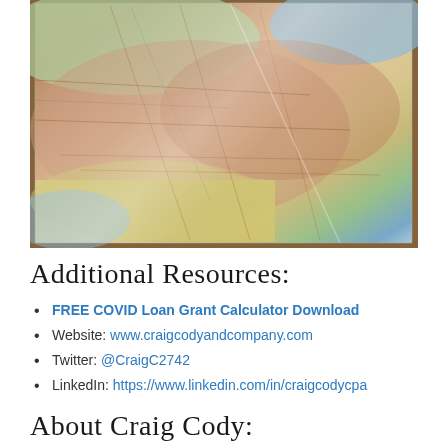[Figure (photo): Close-up photograph of an open road atlas/map book showing a detailed map with roads, terrain features, and geographic regions in various colors including brown, green, yellow, and blue.]
Additional Resources:
FREE COVID Loan Grant Calculator Download
Website: www.craigcodyandcompany.com
Twitter: @CraigC2742
LinkedIn: https://www.linkedin.com/in/craigcodycpa
About Craig Cody: